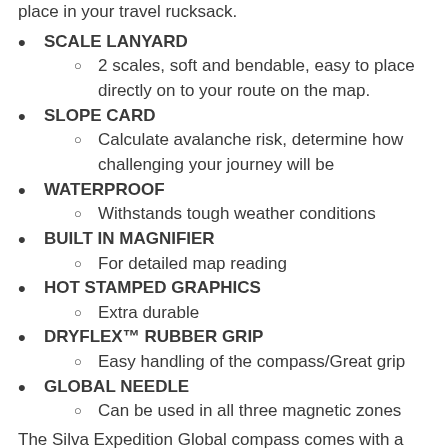place in your travel rucksack.
SCALE LANYARD
2 scales, soft and bendable, easy to place directly on to your route on the map.
SLOPE CARD
Calculate avalanche risk, determine how challenging your journey will be
WATERPROOF
Withstands tough weather conditions
BUILT IN MAGNIFIER
For detailed map reading
HOT STAMPED GRAPHICS
Extra durable
DRYFLEX™ RUBBER GRIP
Easy handling of the compass/Great grip
GLOBAL NEEDLE
Can be used in all three magnetic zones
The Silva Expedition Global compass comes with a slope card and a distance lanyard. The slope card is